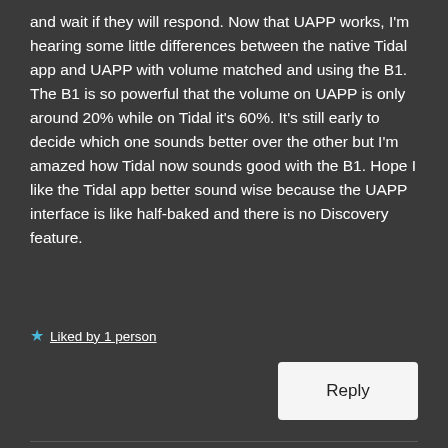and wait if they will respond. Now that UAPP works, I'm hearing some little differences between the native Tidal app and UAPP with volume matched and using the B1. The B1 is so powerful that the volume on UAPP is only around 20% while on Tidal it's 60%. It's still early to decide which one sounds better over the other but I'm amazed how Tidal now sounds good with the B1. Hope I like the Tidal app better sound wise because the UAPP interface is like half-baked and there is no Discovery feature.
★ Liked by 1 person
Reply